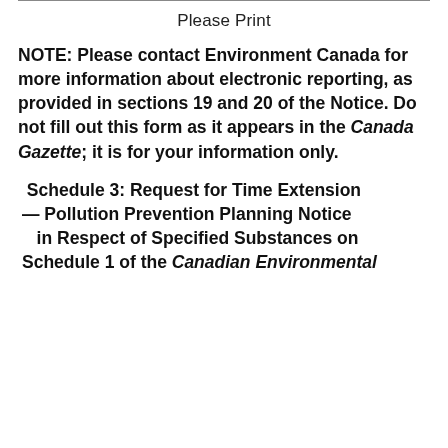Please Print
NOTE: Please contact Environment Canada for more information about electronic reporting, as provided in sections 19 and 20 of the Notice. Do not fill out this form as it appears in the Canada Gazette; it is for your information only.
Schedule 3: Request for Time Extension — Pollution Prevention Planning Notice in Respect of Specified Substances on Schedule 1 of the Canadian Environmental